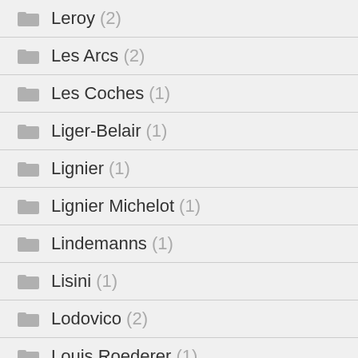Leroy (2)
Les Arcs (2)
Les Coches (1)
Liger-Belair (1)
Lignier (1)
Lignier Michelot (1)
Lindemanns (1)
Lisini (1)
Lodovico (2)
Louis Roederer (1)